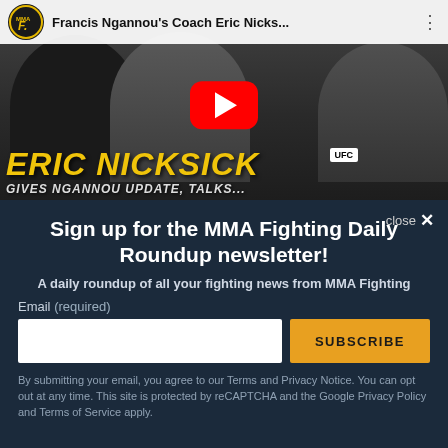[Figure (screenshot): YouTube video thumbnail showing Francis Ngannou and his coach Eric Nicksick. The video title reads 'Francis Ngannou's Coach Eric Nicks...' with a play button overlay. Text at bottom reads 'ERIC NICKSICK' in bold yellow italic letters, with subtitle bar below.]
Sign up for the MMA Fighting Daily Roundup newsletter!
A daily roundup of all your fighting news from MMA Fighting
Email (required)
SUBSCRIBE
By submitting your email, you agree to our Terms and Privacy Notice. You can opt out at any time. This site is protected by reCAPTCHA and the Google Privacy Policy and Terms of Service apply.